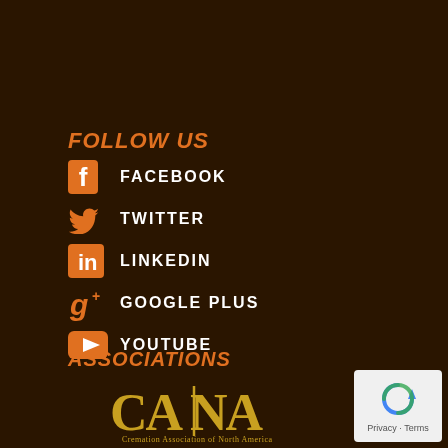FOLLOW US
FACEBOOK
TWITTER
LINKEDIN
GOOGLE PLUS
YOUTUBE
ASSOCIATIONS
[Figure (logo): CANA - Cremation Association of North America logo in gold/yellow lettering]
[Figure (other): Google reCAPTCHA / Privacy & Terms badge]